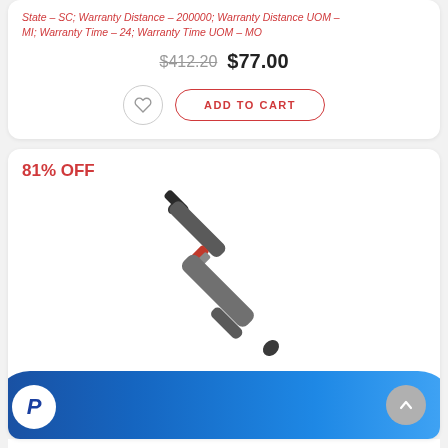State – SC; Warranty Distance – 200000; Warranty Distance UOM – MI; Warranty Time – 24; Warranty Time UOM – MO
$412.20  $77.00
ADD TO CART
81% OFF
[Figure (photo): A diagonal shock absorber / strut component (Turbocharged Rear Shock Absorber Bulldog HD) shown against white background]
Turbocharged Rear Shock Absorber Bulldog HD® HD1315-0024